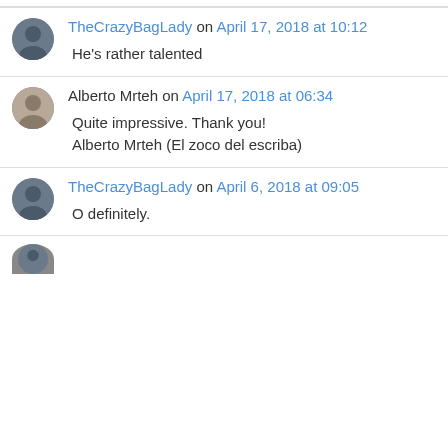TheCrazyBagLady on April 17, 2018 at 10:12 — He's rather talented
Alberto Mrteh on April 17, 2018 at 06:34 — Quite impressive. Thank you! Alberto Mrteh (El zoco del escriba)
TheCrazyBagLady on April 6, 2018 at 09:05 — O definitely.
(partial comment, avatar visible)